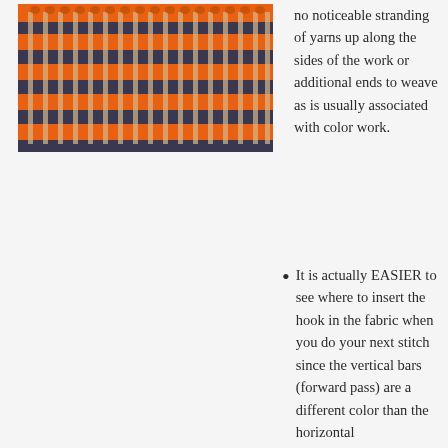[Figure (photo): Close-up photograph of colorwork crochet/knitting fabric showing orange, dark grey/navy, and cream/tan yarns in a textured stitch pattern with vertical bars visible.]
no noticeable stranding of yarns up along the sides of the work or additional ends to weave as is usually associated with color work.
It is actually EASIER to see where to insert the hook in the fabric when you do your next stitch since the vertical bars (forward pass) are a different color than the horizontal